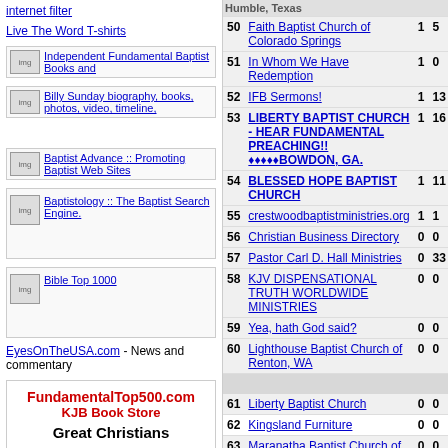internet filter
Live The Word T-shirts
[Figure (screenshot): Independent Fundamental Baptist Books and - image with link]
[Figure (screenshot): Billy Sunday biography, books, photos, video, timeline - image with link]
[Figure (screenshot): Baptist Advance :: Promoting Baptist Web Sites - image with link]
[Figure (screenshot): Baptistology :: The Baptist Search Engine - image with link]
[Figure (screenshot): Bible Top 1000 - image with link]
EyesOnTheUSA.com - News and commentary
[Figure (screenshot): FundamentalTop500.com KJB Book Store - Great Christians advertisement box]
| # | Site |  |  |
| --- | --- | --- | --- |
| 50 | Faith Baptist Church of Colorado Springs | 1 | 5 |
| 51 | In Whom We Have Redemption | 1 | 0 |
| 52 | IFB Sermons! | 1 | 13 |
| 53 | LIBERTY BAPTIST CHURCH - HEAR FUNDAMENTAL PREACHING!! ♦♦♦♦♦BOWDON, GA. | 1 | 16 |
| 54 | BLESSED HOPE BAPTIST CHURCH | 1 | 11 |
| 55 | crestwoodbaptistministries.org | 1 | 1 |
| 56 | Christian Business Directory | 0 | 0 |
| 57 | Pastor Carl D. Hall Ministries | 0 | 33 |
| 58 | KJV DISPENSATIONAL TRUTH WORLDWIDE MINISTRIES | 0 | 0 |
| 59 | Yea, hath God said? | 0 | 0 |
| 60 | Lighthouse Baptist Church of Renton, WA | 0 | 0 |
| 61 | Liberty Baptist Church | 0 | 0 |
| 62 | Kingsland Furniture | 0 | 0 |
| 63 | Maranatha Baptist Church of Peoria, AZ | 0 | 0 |
| 64 | KJV DISPENSATIONAL TRUTH WORLDWIDE MINISTRIES | 0 | 0 |
| 65 | Biblical christianity dispensational truth | 0 | 0 |
| 66 | Northeast Kingdom's Bible Baptist Church | 0 | 0 |